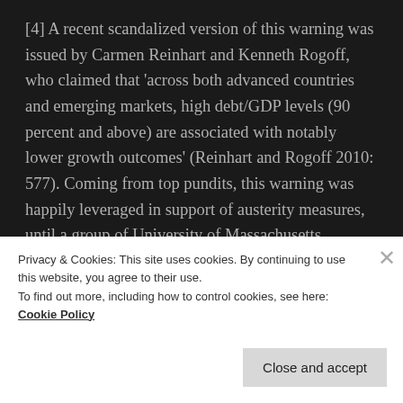[4] A recent scandalized version of this warning was issued by Carmen Reinhart and Kenneth Rogoff, who claimed that 'across both advanced countries and emerging markets, high debt/GDP levels (90 percent and above) are associated with notably lower growth outcomes' (Reinhart and Rogoff 2010: 577). Coming from top pundits, this warning was happily leveraged in support of austerity measures, until a group of University of Massachusetts economists showed it to be based on faulty Excel sheet calculations. Once corrected, the computations showed debt/GDP levels to have had
Privacy & Cookies: This site uses cookies. By continuing to use this website, you agree to their use.
To find out more, including how to control cookies, see here: Cookie Policy
Close and accept